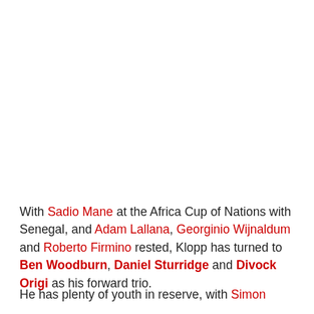With Sadio Mane at the Africa Cup of Nations with Senegal, and Adam Lallana, Georginio Wijnaldum and Roberto Firmino rested, Klopp has turned to Ben Woodburn, Daniel Sturridge and Divock Origi as his forward trio.
He has plenty of youth in reserve, with Simon